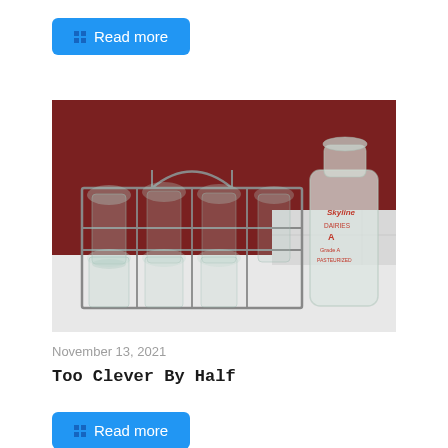Read more
[Figure (photo): A wire milk bottle carrier/crate holding several clear glass milk bottles. To the right of the crate stands a single clear glass milk bottle with a 'Skyline' dairy label in red. Items are photographed on a white surface against a dark red wall.]
November 13, 2021
Too Clever By Half
Read more